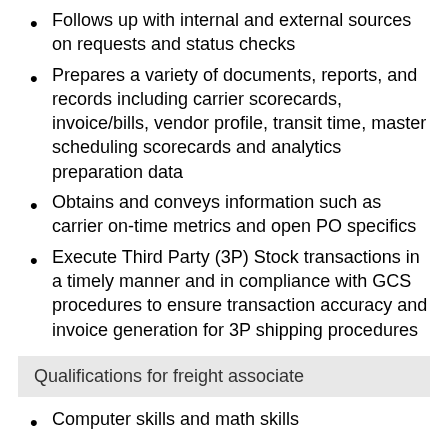Follows up with internal and external sources on requests and status checks
Prepares a variety of documents, reports, and records including carrier scorecards, invoice/bills, vendor profile, transit time, master scheduling scorecards and analytics preparation data
Obtains and conveys information such as carrier on-time metrics and open PO specifics
Execute Third Party (3P) Stock transactions in a timely manner and in compliance with GCS procedures to ensure transaction accuracy and invoice generation for 3P shipping procedures
Qualifications for freight associate
Computer skills and math skills